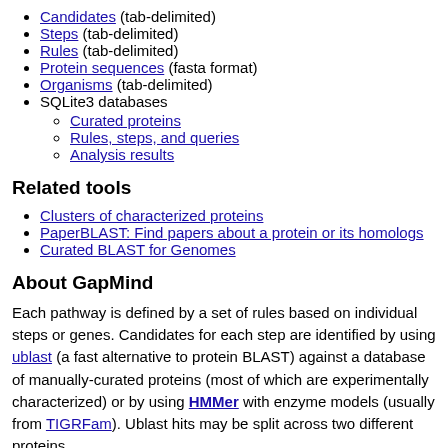Candidates (tab-delimited)
Steps (tab-delimited)
Rules (tab-delimited)
Protein sequences (fasta format)
Organisms (tab-delimited)
SQLite3 databases
Curated proteins
Rules, steps, and queries
Analysis results
Related tools
Clusters of characterized proteins
PaperBLAST: Find papers about a protein or its homologs
Curated BLAST for Genomes
About GapMind
Each pathway is defined by a set of rules based on individual steps or genes. Candidates for each step are identified by using ublast (a fast alternative to protein BLAST) against a database of manually-curated proteins (most of which are experimentally characterized) or by using HMMer with enzyme models (usually from TIGRFam). Ublast hits may be split across two different proteins